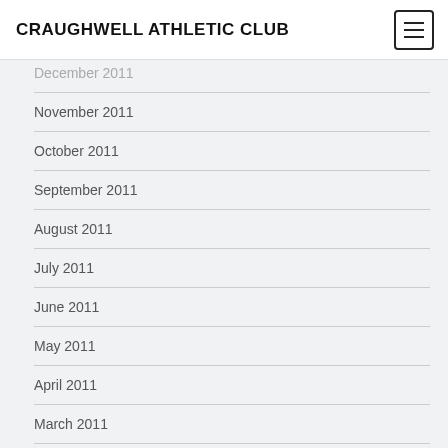CRAUGHWELL ATHLETIC CLUB
December 2011
November 2011
October 2011
September 2011
August 2011
July 2011
June 2011
May 2011
April 2011
March 2011
February 2011